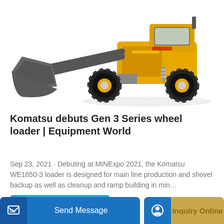[Figure (photo): Yellow and black Komatsu WE1850-3 wheel loader with large bucket attachment on white background]
Komatsu debuts Gen 3 Series wheel loader | Equipment World
Sep 23, 2021 · Debuting at MINExpo 2021, the Komatsu WE1850-3 loader is designed for main line production and shovel backup as well as cleanup and ramp building in min…
Learn More
Send Message
Inquiry Online